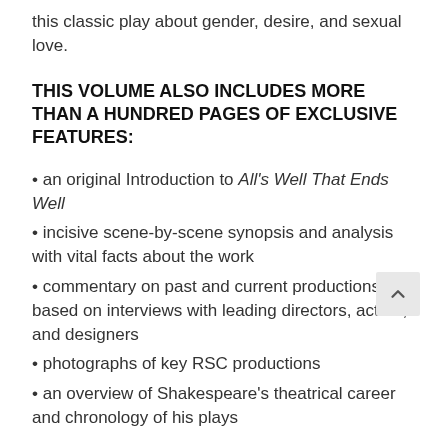this classic play about gender, desire, and sexual love.
THIS VOLUME ALSO INCLUDES MORE THAN A HUNDRED PAGES OF EXCLUSIVE FEATURES:
• an original Introduction to All's Well That Ends Well
• incisive scene-by-scene synopsis and analysis with vital facts about the work
• commentary on past and current productions based on interviews with leading directors, actors, and designers
• photographs of key RSC productions
• an overview of Shakespeare's theatrical career and chronology of his plays